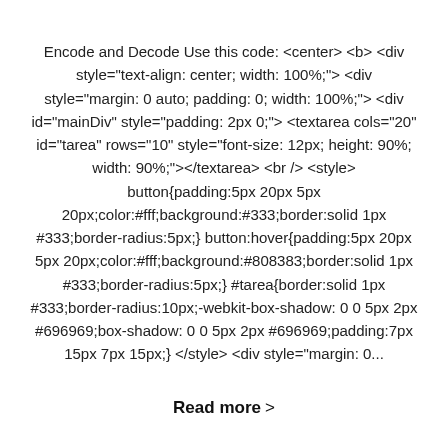Encode and Decode Use this code: <center> <b> <div style="text-align: center; width: 100%;"> <div style="margin: 0 auto; padding: 0; width: 100%;"> <div id="mainDiv" style="padding: 2px 0;"> <textarea cols="20" id="tarea" onfocus="code_check();" rows="10" style="font-size: 12px; height: 90%; width: 90%;"></textarea> <br /> <style> button{padding:5px 20px 5px 20px;color:#fff;background:#333;border:solid 1px #333;border-radius:5px;} button:hover{padding:5px 20px 5px 20px;color:#fff;background:#808383;border:solid 1px #333;border-radius:5px;} #tarea{border:solid 1px #333;border-radius:10px;-webkit-box-shadow: 0 0 5px 2px #696969;box-shadow: 0 0 5px 2px #696969;padding:7px 15px 7px 15px;} </style> <div style="margin: 0...
Read more >